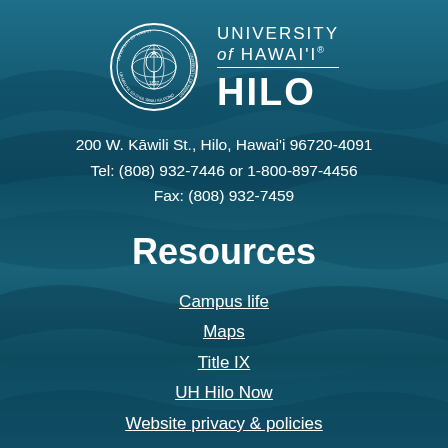[Figure (logo): University of Hawai'i at Hilo logo with circular seal and text]
200 W. Kāwili St., Hilo, Hawai'i 96720-4091
Tel: (808) 932-7446 or 1-800-897-4456
Fax: (808) 932-7459
Resources
Campus life
Maps
Title IX
UH Hilo Now
Website privacy & policies
Connect